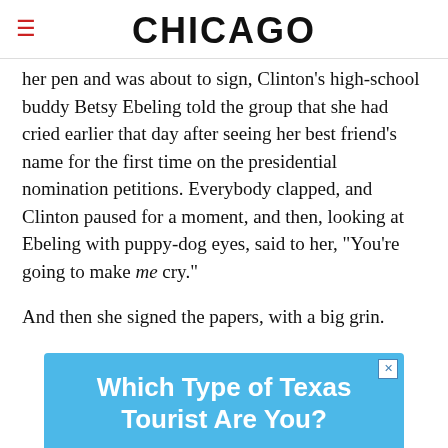CHICAGO
her pen and was about to sign, Clinton's high-school buddy Betsy Ebeling told the group that she had cried earlier that day after seeing her best friend's name for the first time on the presidential nomination petitions. Everybody clapped, and Clinton paused for a moment, and then, looking at Ebeling with puppy-dog eyes, said to her, "You're going to make me cry."
And then she signed the papers, with a big grin.
[Figure (infographic): Advertisement banner with light blue background reading 'Which Type of Texas Tourist Are You?' in white bold text, with a close button in the top right corner and decorative wave pattern at the bottom.]